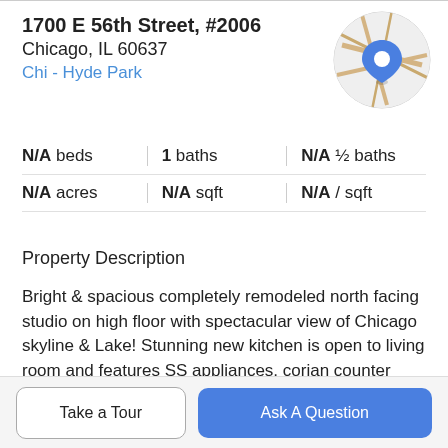1700 E 56th Street, #2006
Chicago, IL 60637
Chi - Hyde Park
[Figure (map): Circular map thumbnail with a blue location pin marker, showing yellow roads on a grey/white background]
| N/A beds | 1 baths | N/A ½ baths |
| N/A acres | N/A sqft | N/A / sqft |
Property Description
Bright & spacious completely remodeled north facing studio on high floor with spectacular view of Chicago skyline & Lake! Stunning new kitchen is open to living room and features SS appliances, corian counter tops & new cabinetry. New bathroom with 12x24 inch ceramic tile